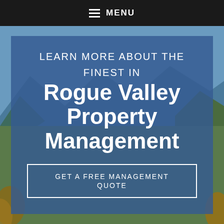MENU
[Figure (photo): Background landscape photo of a valley with mountains and sky, partially visible on the left and right edges behind a blue overlay]
LEARN MORE ABOUT THE FINEST IN Rogue Valley Property Management
GET A FREE MANAGEMENT QUOTE